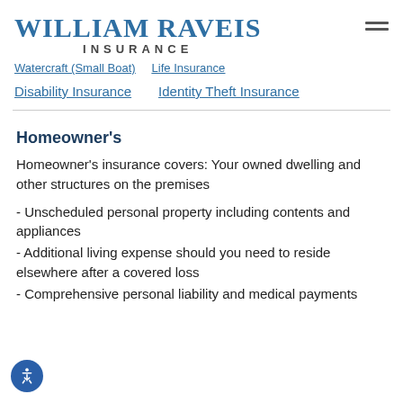WILLIAM RAVEIS INSURANCE
Watercraft (Small Boat)    Life Insurance
Disability Insurance    Identity Theft Insurance
Homeowner's
Homeowner's insurance covers: Your owned dwelling and other structures on the premises
- Unscheduled personal property including contents and appliances
- Additional living expense should you need to reside elsewhere after a covered loss
- Comprehensive personal liability and medical payments